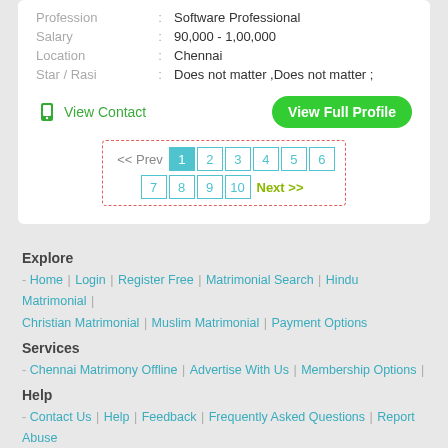Profession : Software Professional
Salary : 90,000 - 1,00,000
Location : Chennai
Star / Rasi : Does not matter ,Does not matter ;
View Contact | View Full Profile
<< Prev 1 2 3 4 5 6 7 8 9 10 Next >>
Explore
- Home | Login | Register Free | Matrimonial Search | Hindu Matrimonial | Christian Matrimonial | Muslim Matrimonial | Payment Options
Services
- Chennai Matrimony Offline | Advertise With Us | Membership Options |
Help
- Contact Us | Help | Feedback | Frequently Asked Questions | Report Abuse | Sitemap
Legal
- About Us | Terms & Conditions | Privacy Policy | Security Tips | Safety Tips